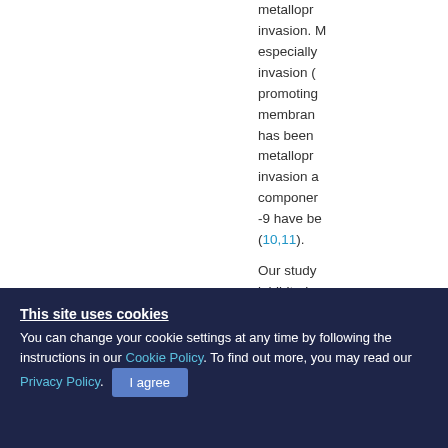metallopr... invasion. M... especially... invasion (... promoting... membran... has been... metallopr... invasion a... componer... -9 have be... (10,11). Our study... inhibited m...
This site uses cookies
You can change your cookie settings at any time by following the instructions in our Cookie Policy. To find out more, you may read our Privacy Policy. I agree